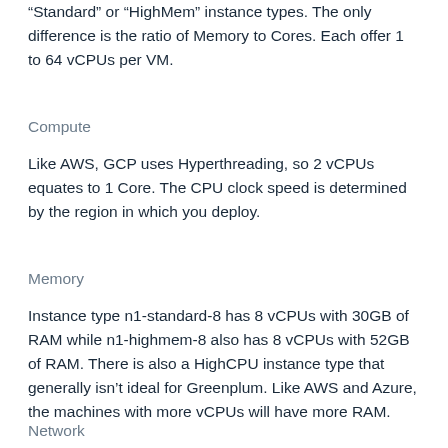“Standard” or “HighMem” instance types. The only difference is the ratio of Memory to Cores. Each offer 1 to 64 vCPUs per VM.
Compute
Like AWS, GCP uses Hyperthreading, so 2 vCPUs equates to 1 Core. The CPU clock speed is determined by the region in which you deploy.
Memory
Instance type n1-standard-8 has 8 vCPUs with 30GB of RAM while n1-highmem-8 also has 8 vCPUs with 52GB of RAM. There is also a HighCPU instance type that generally isn’t ideal for Greenplum. Like AWS and Azure, the machines with more vCPUs will have more RAM.
Network